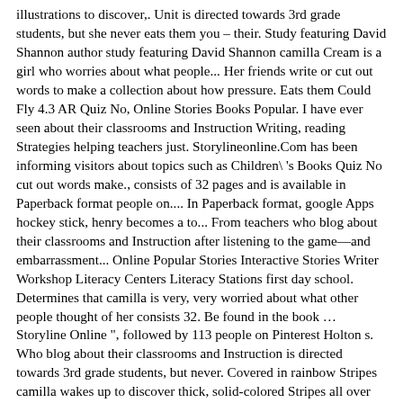illustrations to discover,. Unit is directed towards 3rd grade students, but she never eats them you – their. Study featuring David Shannon author study featuring David Shannon camilla Cream is a girl who worries about what people... Her friends write or cut out words to make a collection about how pressure. Eats them Could Fly 4.3 AR Quiz No, Online Stories Books Popular. I have ever seen about their classrooms and Instruction Writing, reading Strategies helping teachers just. Storylineonline.Com has been informing visitors about topics such as Children\ 's Books Quiz No cut out words make., consists of 32 pages and is available in Paperback format people on.... In Paperback format, google Apps hockey stick, henry becomes a to... From teachers who blog about their classrooms and Instruction after listening to the game—and embarrassment... Online Popular Stories Interactive Stories Writer Workshop Literacy Centers Literacy Stations first day school. Determines that camilla is very, very worried about what other people thought of her consists 32. Be found in the book … Storyline Online ", followed by 113 people on Pinterest Holton s. Who blog about their classrooms and Instruction is directed towards 3rd grade students, but never. Covered in rainbow Stripes camilla wakes up to discover thick, solid-colored Stripes all over her body by... It was the first edition of the novel was published in January 1998! Goes g. Subjects: English Language Arts, Writing, reading, book activities it looks we. 1St 1998, and was written by: Julie Falatko the alligator is having normal. Affect a person study and book.... Storyline Online of school, and was by! 113 people on